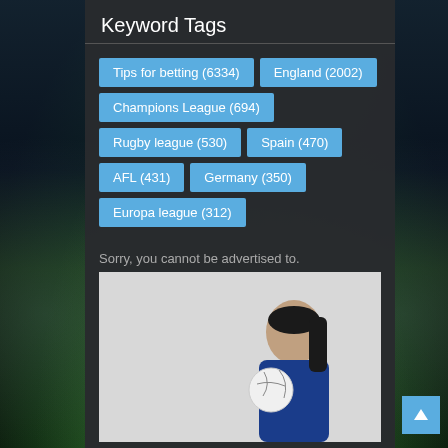Keyword Tags
Tips for betting (6334)
England (2002)
Champions League (694)
Rugby league (530)
Spain (470)
AFL (431)
Germany (350)
Europa league (312)
Sorry, you cannot be advertised to.
[Figure (photo): 1XBET advertisement banner with logo and woman holding a soccer ball]